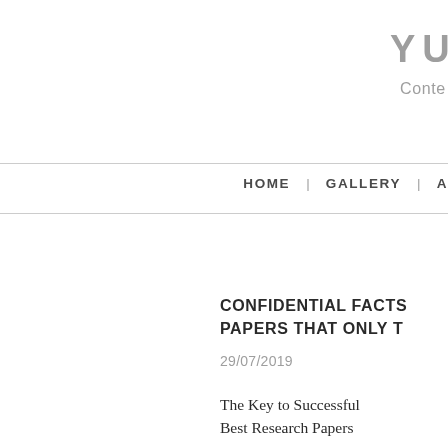YUET Y
Conte
HOME | GALLERY | A
CONFIDENTIAL FACTS PAPERS THAT ONLY T
29/07/2019
The Key to Successful Best Research Papers